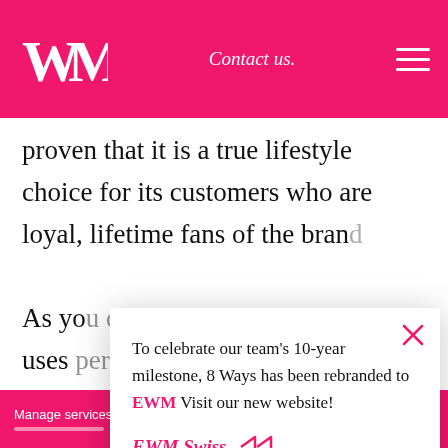WM | Contact us. | ☰
proven that it is a true lifestyle choice for its customers who are loyal, lifetime fans of the bran[d]
As yo[u can see from the example, it] uses [personalized] techniques in its marketing to rema[in] [influential and appealing] to current and pote[ntial fans alike. It will be interesting to see how the brand evolves in the coming years. Will] e to tap into the above principles or
To celebrate our team's 10-year milestone, 8 Ways has been rebranded to EWM Visit our new website!
EWM Swiss
Manage services